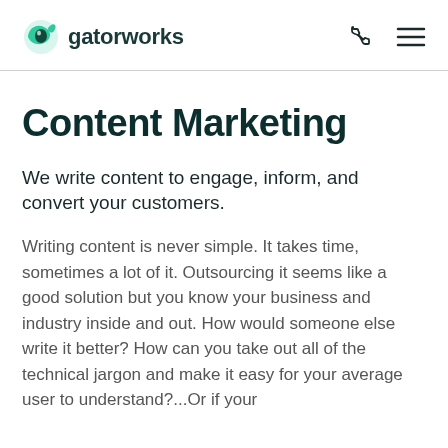gatorworks
Content Marketing
We write content to engage, inform, and convert your customers.
Writing content is never simple. It takes time, sometimes a lot of it. Outsourcing it seems like a good solution but you know your business and industry inside and out. How would someone else write it better? How can you take out all of the technical jargon and make it easy for your average user to understand?...Or if your